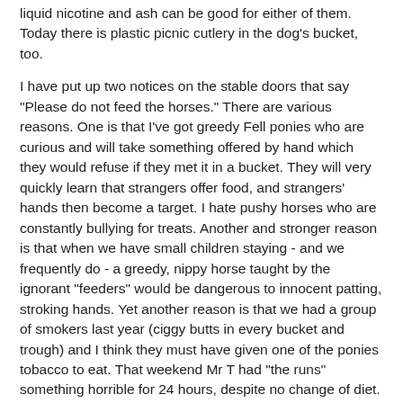liquid nicotine and ash can be good for either of them. Today there is plastic picnic cutlery in the dog's bucket, too.
I have put up two notices on the stable doors that say "Please do not feed the horses." There are various reasons. One is that I've got greedy Fell ponies who are curious and will take something offered by hand which they would refuse if they met it in a bucket. They will very quickly learn that strangers offer food, and strangers' hands then become a target. I hate pushy horses who are constantly bullying for treats. Another and stronger reason is that when we have small children staying - and we frequently do - a greedy, nippy horse taught by the ignorant "feeders" would be dangerous to innocent patting, stroking hands. Yet another reason is that we had a group of smokers last year (ciggy butts in every bucket and trough) and I think they must have given one of the ponies tobacco to eat. That weekend Mr T had "the runs" something horrible for 24 hours, despite no change of diet. Townies just have no idea what is sensible to feed to a horse or how or when to feed it. And no consciousness of the dangers of their own ignorance.